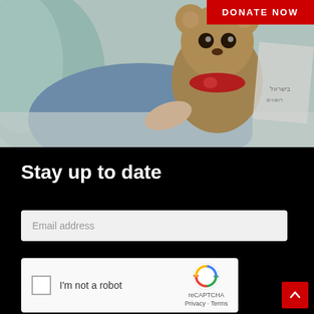[Figure (photo): Child in hospital bed holding a teddy bear with a red ribbon, lying on white sheets with blue hospital clothing visible. Hebrew text visible on right side.]
DONATE NOW
Stay up to date
Email address
[Figure (other): reCAPTCHA widget with checkbox labeled 'I'm not a robot' and reCAPTCHA logo with Privacy and Terms links]